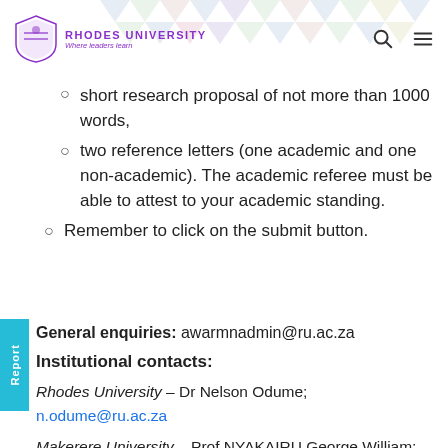Rhodes University — Where leaders learn
short research proposal of not more than 1000 words,
two reference letters (one academic and one non-academic). The academic referee must be able to attest to your academic standing.
Remember to click on the submit button.
General enquiries: awarmnadmin@ru.ac.za
Institutional contacts:
Rhodes University – Dr Nelson Odume; n.odume@ru.ac.za
Makerere University – Prof NYAKAIRU George William; gwnyakairu@cns.mak.ac.ug